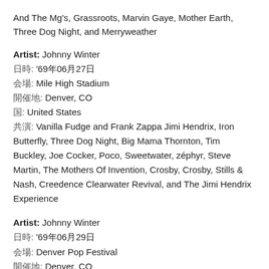And The Mg's, Grassroots, Marvin Gaye, Mother Earth, Three Dog Night, and Merryweather
Artist: Johnny Winter
日時: '69年06月27日
会場: Mile High Stadium
開催地: Denver, CO
国: United States
共演: Vanilla Fudge and Frank Zappa Jimi Hendrix, Iron Butterfly, Three Dog Night, Big Mama Thornton, Tim Buckley, Joe Cocker, Poco, Sweetwater, zéphyr, Steve Martin, The Mothers Of Invention, Crosby, Crosby, Stills & Nash, Creedence Clearwater Revival, and The Jimi Hendrix Experience
Artist: Johnny Winter
日時: '69年06月29日
会場: Denver Pop Festival
開催地: Denver, CO